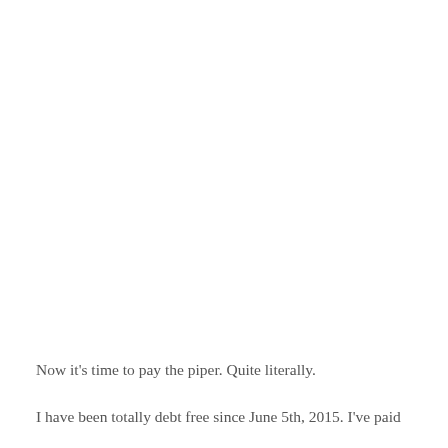Now it's time to pay the piper. Quite literally.
I have been totally debt free since June 5th, 2015. I've paid